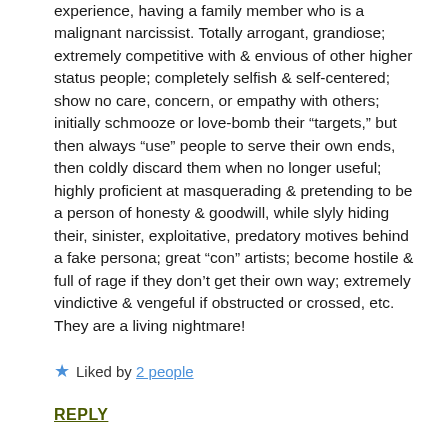experience, having a family member who is a malignant narcissist. Totally arrogant, grandiose; extremely competitive with & envious of other higher status people; completely selfish & self-centered; show no care, concern, or empathy with others; initially schmooze or love-bomb their “targets,” but then always “use” people to serve their own ends, then coldly discard them when no longer useful; highly proficient at masquerading & pretending to be a person of honesty & goodwill, while slyly hiding their, sinister, exploitative, predatory motives behind a fake persona; great “con” artists; become hostile & full of rage if they don’t get their own way; extremely vindictive & vengeful if obstructed or crossed, etc. They are a living nightmare!
★ Liked by 2 people
REPLY